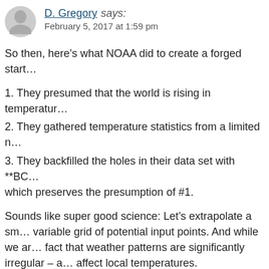D. Gregory says: February 5, 2017 at 1:59 pm
So then, here’s what NOAA did to create a forged start…
1. They presumed that the world is rising in temperatur…
2. They gathered temperature statistics from a limited n…
3. They backfilled the holes in their data set with **BC… which preserves the presumption of #1.
Sounds like super good science: Let’s extrapolate a sm… variable grid of potential input points. And while we ar… fact that weather patterns are significantly irregular – a… affect local temperatures.
In other words, even though it’s a fundamental fact of t… frequent massive changes in local patterns of weather a… ignore that basic fact and instead, simply invent numbe… collection grid – regardless of what actually is true on t…